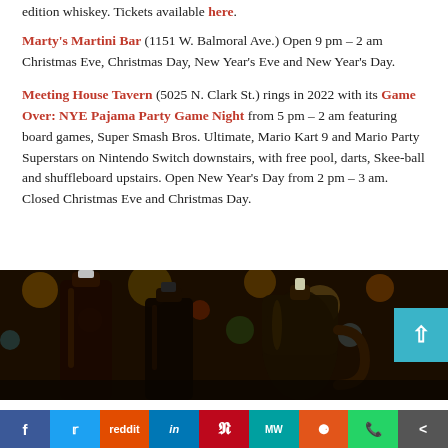edition whiskey. Tickets available here.
Marty's Martini Bar (1151 W. Balmoral Ave.) Open 9 pm – 2 am Christmas Eve, Christmas Day, New Year's Eve and New Year's Day.
Meeting House Tavern (5025 N. Clark St.) rings in 2022 with its Game Over: NYE Pajama Party Game Night from 5 pm – 2 am featuring board games, Super Smash Bros. Ultimate, Mario Kart 9 and Mario Party Superstars on Nintendo Switch downstairs, with free pool, darts, Skee-ball and shuffleboard upstairs. Open New Year's Day from 2 pm – 3 am. Closed Christmas Eve and Christmas Day.
[Figure (photo): Photo of several dark liquor bottles in front of a colorful bokeh background with festive lights]
Social share bar: Facebook, Twitter, Reddit, LinkedIn, Pinterest, MeWe, Mix, WhatsApp, Share